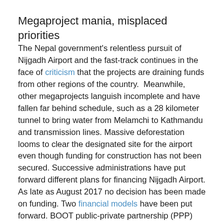Megaproject mania, misplaced priorities
The Nepal government's relentless pursuit of Nijgadh Airport and the fast-track continues in the face of criticism that the projects are draining funds from other regions of the country.  Meanwhile, other megaprojects languish incomplete and have fallen far behind schedule, such as a 28 kilometer tunnel to bring water from Melamchi to Kathmandu and transmission lines. Massive deforestation looms to clear the designated site for the airport even though funding for construction has not been secured. Successive administrations have put forward different plans for financing Nijgadh Airport. As late as August 2017 no decision has been made on funding. Two financial models have been put forward. BOOT public-private partnership (PPP) would involve foreign investment or private financing. Alternatively, the government would develop the project under the engineering, procurement, construction and finance (EPCF) model.
Megaproject mania, in particular massive government expenditure on a gigantic airport, multilane highway and aerotropolis, is a serious case of misplaced priorities in one